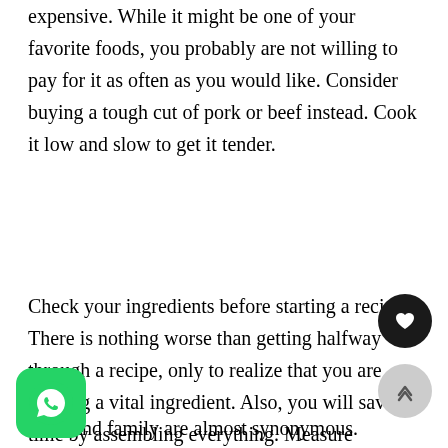expensive. While it might be one of your favorite foods, you probably are not willing to pay for it as often as you would like. Consider buying a tough cut of pork or beef instead. Cook it low and slow to get it tender.
Check your ingredients before starting a recipe. There is nothing worse than getting halfway through a recipe, only to realize that you are missing a vital ingredient. Also, you will save time by assembling everything. Measure everything out, and prepare any ingredients in advance. This way, you won't suddenly find yourself having to chop an onion or grate cheese when you are right in the middle of your recipe.
and family are almost synonymous. Whether it's the holidays, or just the evening meal, it is a wonderful